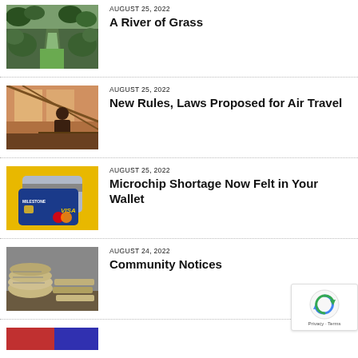[Figure (photo): Garden path with green grass and flowers]
AUGUST 25, 2022
A River of Grass
[Figure (photo): Person sitting at workstation in industrial setting]
AUGUST 25, 2022
New Rules, Laws Proposed for Air Travel
[Figure (photo): Credit cards including Milestone and Visa cards on yellow background]
AUGUST 25, 2022
Microchip Shortage Now Felt in Your Wallet
[Figure (photo): Stack of rolled newspapers]
AUGUST 24, 2022
Community Notices
[Figure (photo): Partially visible image at bottom]